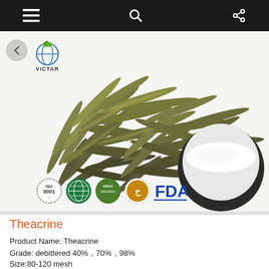Menu | Search | Share
[Figure (photo): Photo of dried green tea leaves (twisted, dark olive green) alongside a round dark bowl filled with white powder. VICTAR logo with green plant/globe icon visible top-left. Certification badges at bottom: ISO 9001, globe/GMP, USDA Organic, Halal, FDA.]
Theacrine
Product Name: Theacrine
Grade: debittered 40%，70%，98%
Size:80-120 mesh